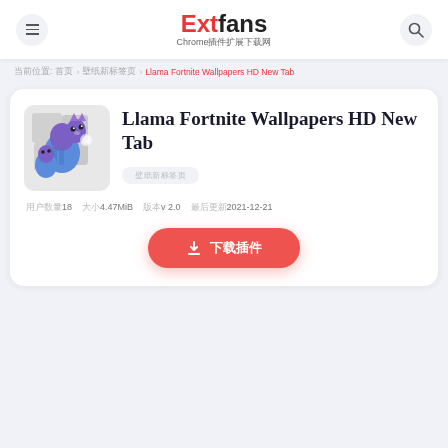Extfans Chrome插件扩展下载网
当前位置: 首页 › 壁纸新标签页 › Llama Fortnite Wallpapers HD New Tab
Llama Fortnite Wallpapers HD New Tab
壁纸新标签页
用户数量18  大小4.47MiB  版本v 2.0  最后更新2021-12-21
↓ 下载插件